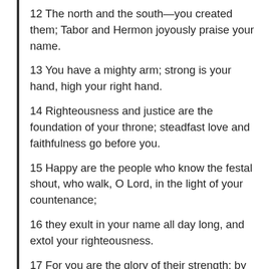12 The north and the south—you created them; Tabor and Hermon joyously praise your name.
13 You have a mighty arm; strong is your hand, high your right hand.
14 Righteousness and justice are the foundation of your throne; steadfast love and faithfulness go before you.
15 Happy are the people who know the festal shout, who walk, O Lord, in the light of your countenance;
16 they exult in your name all day long, and extol your righteousness.
17 For you are the glory of their strength; by your favor our horn is exalted.